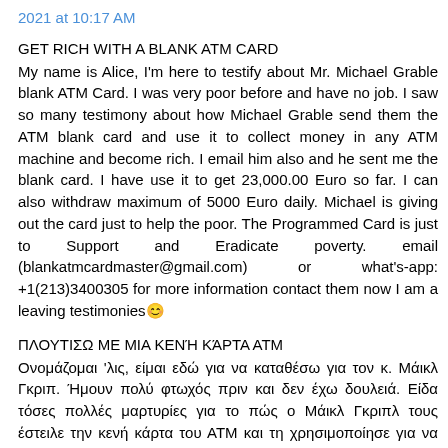2021 at 10:17 AM
GET RICH WITH A BLANK ATM CARD
My name is Alice, I'm here to testify about Mr. Michael Grable blank ATM Card. I was very poor before and have no job. I saw so many testimony about how Michael Grable send them the ATM blank card and use it to collect money in any ATM machine and become rich. I email him also and he sent me the blank card. I have use it to get 23,000.00 Euro so far. I can also withdraw maximum of 5000 Euro daily. Michael is giving out the card just to help the poor. The Programmed Card is just to Support and Eradicate poverty. email (blankatmcardmaster@gmail.com) or what's-app: +1(213)3400305 for more information contact them now I am a leaving testimonies😊
ΠΛΟΥΤΙΣΩ ΜΕ ΜΙΑ ΚΕΝΉ ΚΆΡΤΑ ΑΤΜ
Ονομάζομαι 'λις, είμαι εδώ για να καταθέσω για τον κ. Μάικλ Γκριπ. Ήμουν πολύ φτωχός πριν και δεν έχω δουλειά. Είδα τόσες πολλές μαρτυρίες για το πώς ο Μάικλ Γκριπλ τους έστειλε την κενή κάρτα του ΑΤΜ και τη χρησιμοποίησε για να συλλέξει χρήματα σε οποιοδήποτε μηχάνημα ΑΤΜ και να γίνει πλούσιος. Του στέλνω και ε-